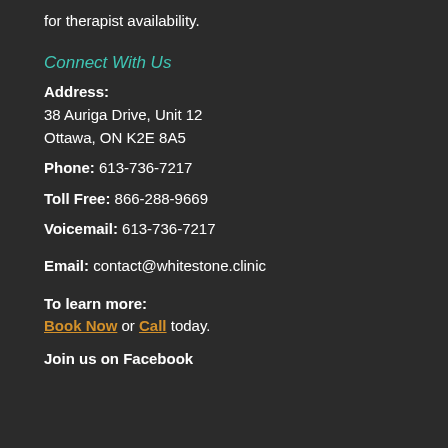for therapist availability.
Connect With Us
Address:
38 Auriga Drive, Unit 12
Ottawa, ON K2E 8A5
Phone: 613-736-7217
Toll Free: 866-288-9669
Voicemail: 613-736-7217
Email: contact@whitestone.clinic
To learn more:
Book Now or Call today.
Join us on Facebook